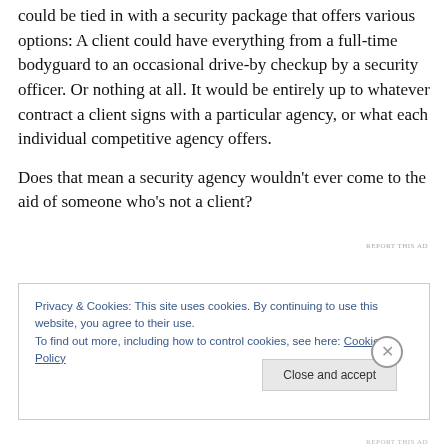could be tied in with a security package that offers various options: A client could have everything from a full-time bodyguard to an occasional drive-by checkup by a security officer. Or nothing at all. It would be entirely up to whatever contract a client signs with a particular agency, or what each individual competitive agency offers.
Does that mean a security agency wouldn't ever come to the aid of someone who's not a client?
REPORT THIS AD
Privacy & Cookies: This site uses cookies. By continuing to use this website, you agree to their use.
To find out more, including how to control cookies, see here: Cookie Policy
Close and accept
REPORT THIS AD